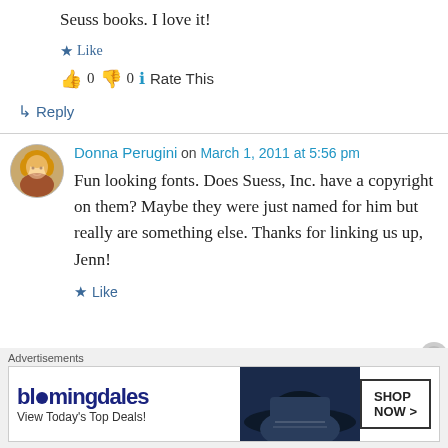Seuss books. I love it!
★ Like
👍 0 👎 0 ℹ Rate This
↳ Reply
Donna Perugini on March 1, 2011 at 5:56 pm
Fun looking fonts. Does Suess, Inc. have a copyright on them? Maybe they were just named for him but really are something else. Thanks for linking us up, Jenn!
★ Like
Advertisements
bloomingdales – View Today's Top Deals! | SHOP NOW >